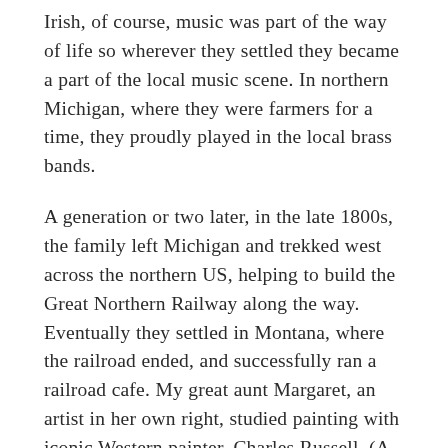Irish, of course, music was part of the way of life so wherever they settled they became a part of the local music scene. In northern Michigan, where they were farmers for a time, they proudly played in the local brass bands.
A generation or two later, in the late 1800s, the family left Michigan and trekked west across the northern US, helping to build the Great Northern Railway along the way. Eventually they settled in Montana, where the railroad ended, and successfully ran a railroad cafe. My great aunt Margaret, an artist in her own right, studied painting with iconic Western painter, Charles Russell. (A little name dropping never hurts. 😉 ) Her natural forté, however, was apple sculpture.
Around 1920 my great grandparents headed north to Canada, settling in southern Alberta. My great grandfather owned a barber shop and pool hall in town as well as farmed. They did